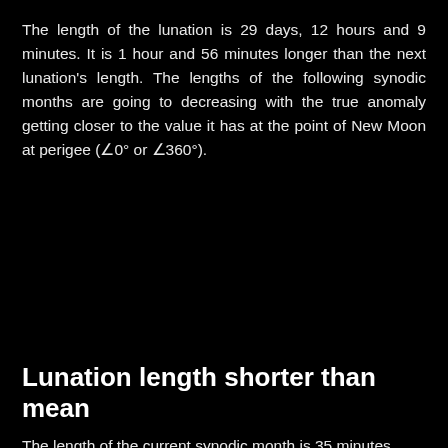The length of the lunation is 29 days, 12 hours and 9 minutes. It is 1 hour and 56 minutes longer than the next lunation's length. The lengths of the following synodic months are going to decreasing with the true anomaly getting closer to the value it has at the point of New Moon at perigee (∠0° or ∠360°).
Lunation length shorter than mean
The length of the current synodic month is 35 minutes